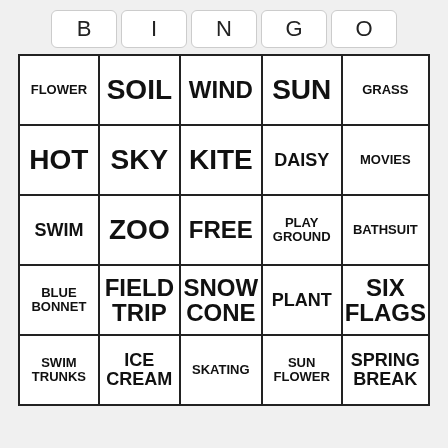| B | I | N | G | O |
| --- | --- | --- | --- | --- |
| FLOWER | SOIL | WIND | SUN | GRASS |
| HOT | SKY | KITE | DAISY | MOVIES |
| SWIM | ZOO | FREE | PLAY GROUND | BATHSUIT |
| BLUE BONNET | FIELD TRIP | SNOW CONE | PLANT | SIX FLAGS |
| SWIM TRUNKS | ICE CREAM | SKATING | SUN FLOWER | SPRING BREAK |